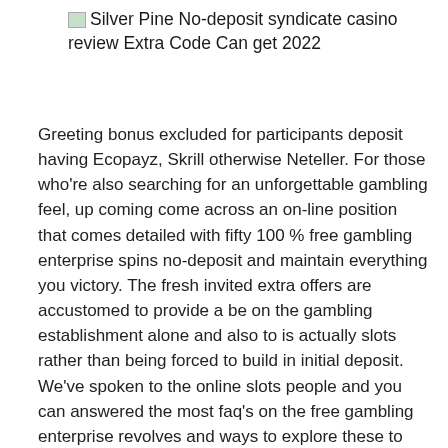Silver Pine No-deposit syndicate casino review Extra Code Can get 2022
Greeting bonus excluded for participants deposit having Ecopayz, Skrill otherwise Neteller. For those who're also searching for an unforgettable gambling feel, up coming come across an on-line position that comes detailed with fifty 100 % free gambling enterprise spins no-deposit and maintain everything you victory. The fresh invited extra offers are accustomed to provide a be on the gambling establishment alone and also to is actually slots rather than being forced to build in initial deposit. We've spoken to the online slots people and you can answered the most faq's on the free gambling enterprise revolves and ways to explore these to increase earnings.